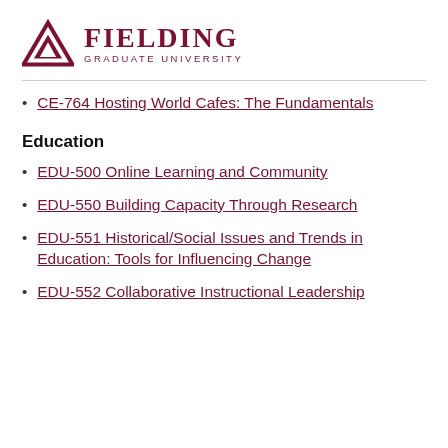[Figure (logo): Fielding Graduate University logo with triangle/arrow icon and university name]
CE-764 Hosting World Cafes: The Fundamentals
Education
EDU-500 Online Learning and Community
EDU-550 Building Capacity Through Research
EDU-551 Historical/Social Issues and Trends in Education: Tools for Influencing Change
EDU-552 Collaborative Instructional Leadership